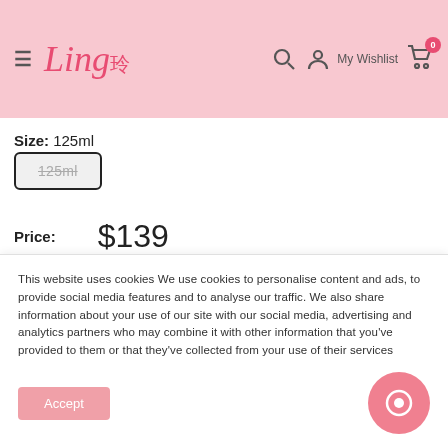Ling 玲 — navigation header with menu, search, account, My Wishlist, cart (0)
Size: 125ml
125ml (strikethrough button)
Price: $139
Quantity: 1
This website uses cookies We use cookies to personalise content and ads, to provide social media features and to analyse our traffic. We also share information about your use of our site with our social media, advertising and analytics partners who may combine it with other information that you've provided to them or that they've collected from your use of their services
Accept